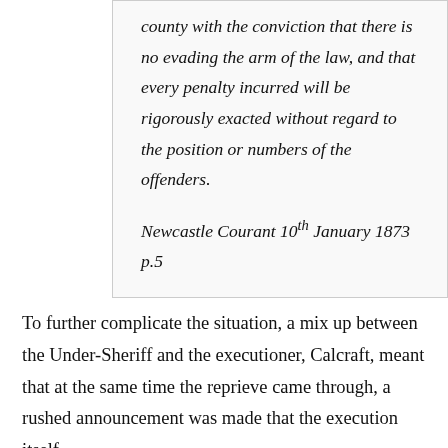county with the conviction that there is no evading the arm of the law, and that every penalty incurred will be rigorously exacted without regard to the position or numbers of the offenders.
Newcastle Courant 10th January 1873 p.5
To further complicate the situation, a mix up between the Under-Sheriff and the executioner, Calcraft, meant that at the same time the reprieve came through, a rushed announcement was made that the execution itself